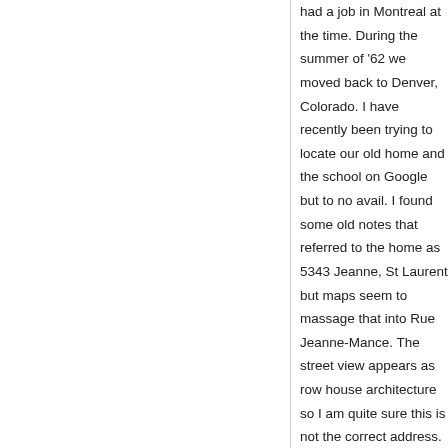had a job in Montreal at the time. During the summer of '62 we moved back to Denver, Colorado. I have recently been trying to locate our old home and the school on Google but to no avail. I found some old notes that referred to the home as 5343 Jeanne, St Laurent but maps seem to massage that into Rue Jeanne-Mance. The street view appears as row house architecture so I am quite sure this is not the correct address. My memory is that Morrison School was basically down the street (Jeanne) from our home. But that is a 50+ year old memory. I don't find a Morison School in my research or the correct Jeanne street. Does the